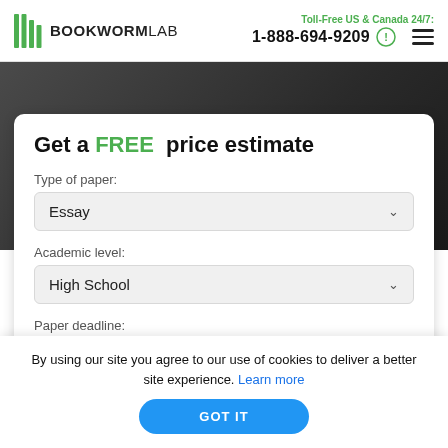BOOKWORMLAB | Toll-Free US & Canada 24/7: 1-888-694-9209
Get a FREE price estimate
Type of paper:
Essay
Academic level:
High School
Paper deadline:
15 days +
By using our site you agree to our use of cookies to deliver a better site experience. Learn more
GOT IT